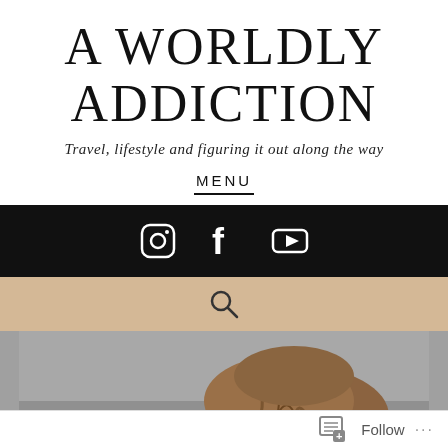A WORLDLY ADDICTION
Travel, lifestyle and figuring it out along the way
MENU
[Figure (infographic): Black bar with three white social media icons: Instagram camera icon, Facebook F icon, YouTube play button icon]
[Figure (infographic): Beige/tan bar with a magnifying glass search icon in the center]
[Figure (photo): Partial photo showing a person with braided hair, cropped, against a grey background]
Follow  ...